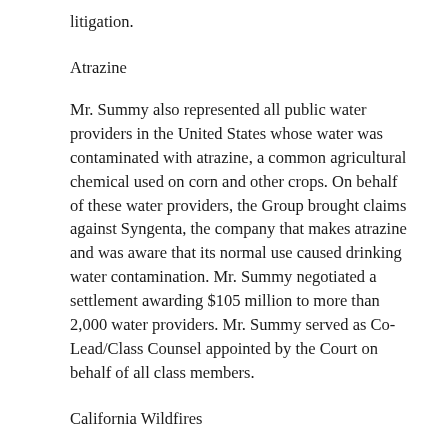litigation.
Atrazine
Mr. Summy also represented all public water providers in the United States whose water was contaminated with atrazine, a common agricultural chemical used on corn and other crops. On behalf of these water providers, the Group brought claims against Syngenta, the company that makes atrazine and was aware that its normal use caused drinking water contamination. Mr. Summy negotiated a settlement awarding $105 million to more than 2,000 water providers. Mr. Summy served as Co-Lead/Class Counsel appointed by the Court on behalf of all class members.
California Wildfires